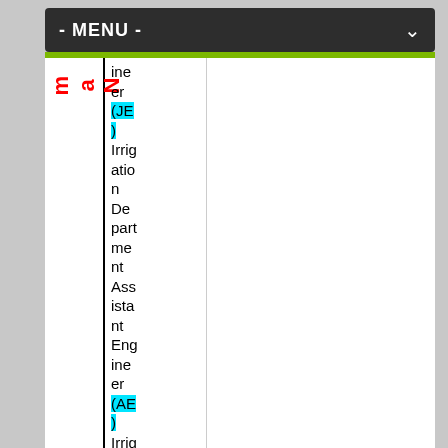- MENU -
| Name | Position |
| --- | --- |
| Name | Junior Engineer (JE) Irrigation Department Assistant Engineer (AE) Irrigation Department Ass |